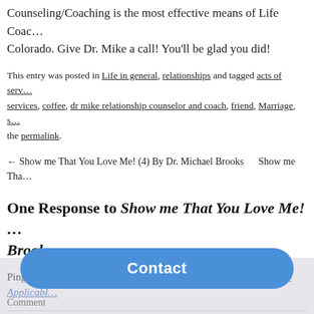Counseling/Coaching is the most effective means of Life Coaching Colorado. Give Dr. Mike a call! You'll be glad you did!
This entry was posted in Life in general, relationships and tagged acts of services, coffee, dr mike relationship counselor and coach, friend, Marriage, … the permalink.
← Show me That You Love Me! (4) By Dr. Michael Brooks    Show me Tha…
One Response to Show me That You Love Me! … Brooks
Pingback: Show me That You Love Me! (5) By Dr. Michael Brooks - Applicabl…
Leave a Reply
Contact
Comment